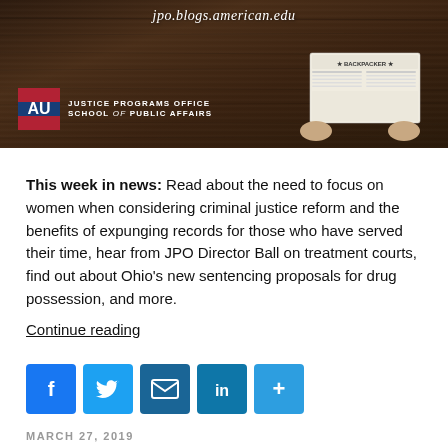[Figure (photo): Banner image with dark wood background, white italic URL text 'jpo.blogs.american.edu', American University logo, 'Justice Programs Office School of Public Affairs' text, and a person holding a newspaper labeled BACKPACKER on the right.]
This week in news: Read about the need to focus on women when considering criminal justice reform and the benefits of expunging records for those who have served their time, hear from JPO Director Ball on treatment courts, find out about Ohio's new sentencing proposals for drug possession, and more.
Continue reading
[Figure (infographic): Social sharing buttons: Facebook (blue f), Twitter (blue bird), Email (envelope), LinkedIn (in), Share (+)]
MARCH 27, 2019